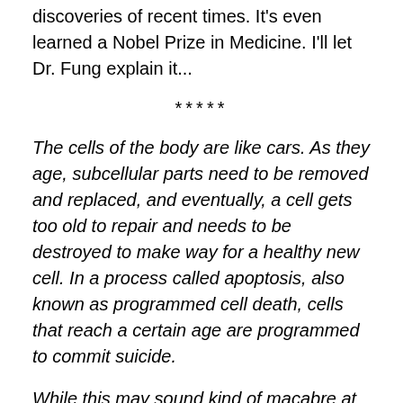discoveries of recent times. It's even learned a Nobel Prize in Medicine. I'll let Dr. Fung explain it...
*****
The cells of the body are like cars. As they age, subcellular parts need to be removed and replaced, and eventually, a cell gets too old to repair and needs to be destroyed to make way for a healthy new cell. In a process called apoptosis, also known as programmed cell death, cells that reach a certain age are programmed to commit suicide.
While this may sound kind of macabre at first, the process constantly renews cell populations, making it essential for good health. But when just some cellular components need to be replaced, a process called autophagy kicks in. The autophagy has won a Nobel Prize in medicine.